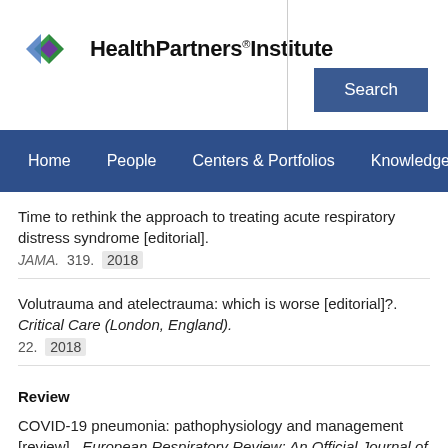[Figure (logo): HealthPartners Institute logo with green and purple diamond shapes and bold text]
Home   People   Centers & Portfolios   Knowledge
Time to rethink the approach to treating acute respiratory distress syndrome [editorial]. JAMA. 319. 2018
Volutrauma and atelectrauma: which is worse [editorial]?. Critical Care (London, England). 22. 2018
Review
COVID-19 pneumonia: pathophysiology and management [review]. European Respiratory Review: An Official Journal of the European